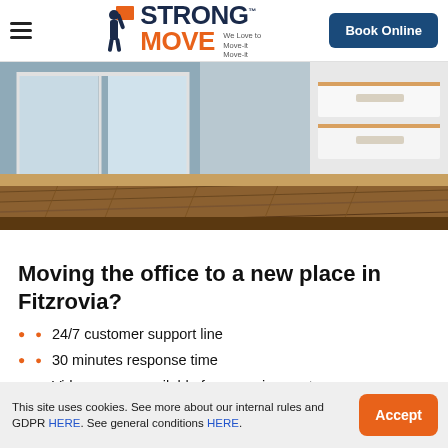Strong Move — We Love to Move-it Move-it | Book Online
[Figure (photo): Interior room photo showing wooden floor, large sliding glass windows on the left, and white kitchen cabinetry on the right]
Moving the office to a new place in Fitzrovia?
24/7 customer support line
30 minutes response time
Video survey available for a precise quote
This site uses cookies. See more about our internal rules and GDPR HERE. See general conditions HERE.